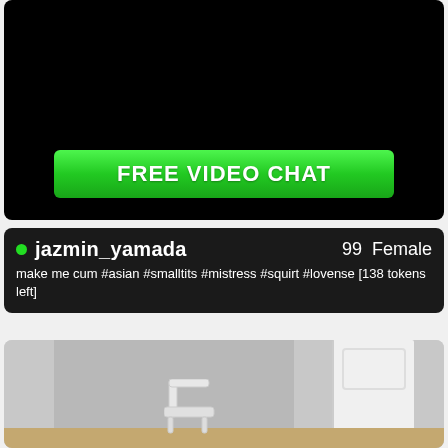[Figure (screenshot): Black video player area with a green FREE VIDEO CHAT button at the bottom]
jazmin_yamada   99  Female
make me cum #asian #smalltits #mistress #squirt #lovense [138 tokens left]
[Figure (photo): Room interior with gray walls and a white door, partial view of a white chair]